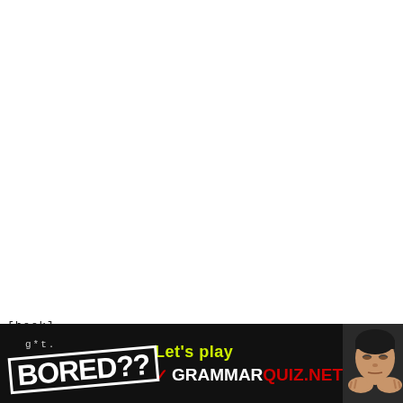[Figure (other): White blank area taking up most of the page]
[hook]
[Figure (infographic): Black banner advertisement: 'g*t. BORED??' logo on left, 'Let’s play GRAMMARQUIZ.NET' text in center with checkmark, bored child photo on right]